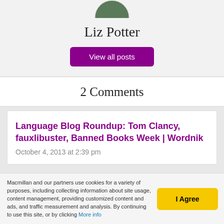[Figure (photo): Partial circular avatar photo of Liz Potter, cropped at top]
Liz Potter
View all posts
2 Comments
Language Blog Roundup: Tom Clancy, fauxlibuster, Banned Books Week | Wordnik
October 4, 2013 at 2:39 pm
Macmillan and our partners use cookies for a variety of purposes, including collecting information about site usage, content management, providing customized content and ads, and traffic measurement and analysis. By continuing to use this site, or by clicking More info